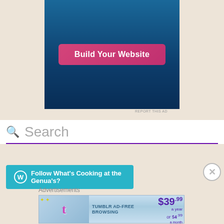[Figure (screenshot): Advertisement banner with dark blue background and pink 'Build Your Website' button]
REPORT THIS AD
[Figure (screenshot): Search bar with purple magnifying glass icon and gray 'Search' placeholder text, with purple underline]
[Figure (screenshot): Cyan 'Follow What's Cooking at the Genua's?' button with WordPress icon]
Advertisements
[Figure (screenshot): Tumblr Ad-Free Browsing advertisement banner showing $39.99 a year or $4.99 a month pricing]